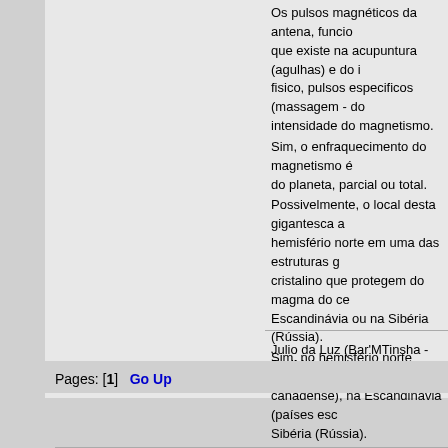Os pulsos magnéticos da antena, funcio... que existe na acupuntura (agulhas) e do ... fisico, pulsos especificos (massagem - do... intensidade do magnetismo.
Sim, o enfraquecimento do magnetismo é... do planeta, parcial ou total.
Possivelmente, o local desta gigantesca a... hemisfério norte em uma das estruturas g... cristalino que protegem do magma do ce... Escandinávia ou na Sibéria (Rússia).
Sim, no hemisfério norte existe escudo cr... canadense), na Escandinávia (países es... Sibéria (Rússia).
No Brasil existe escudo cristalino, no nor... central do Brasil - o maior escudo cristalin... Brasil.
Salvo engano, eu já escrevi no Fórum Se... mundo, depois de pesquisas que eu fiz na...
Julio da Luz (Bar'MTinsha - Pre'Msha)
Pages: [1]   Go Up